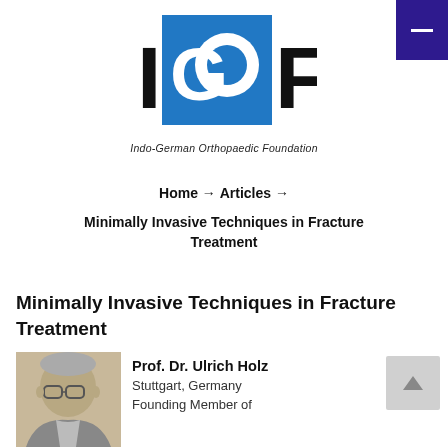[Figure (logo): IGOF logo - Indo-German Orthopaedic Foundation logo with blue square containing white G and O letters, black I and F letters]
Indo-German Orthopaedic Foundation
Home → Articles →
Minimally Invasive Techniques in Fracture Treatment
Minimally Invasive Techniques in Fracture Treatment
[Figure (photo): Black and white portrait photo of Prof. Dr. Ulrich Holz, an elderly man with glasses]
Prof. Dr. Ulrich Holz
Stuttgart, Germany
Founding Member of